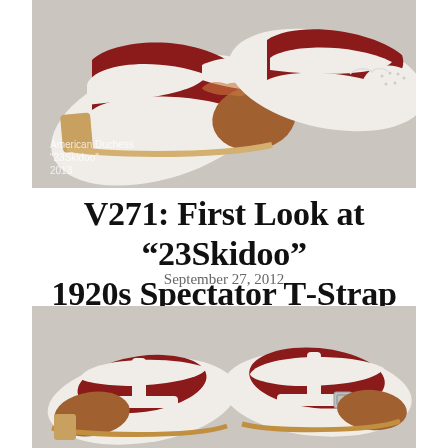[Figure (photo): Photograph of 1920s spectator oxford shoes in white, dark red, and tan/brown leather, shown from above/side angle on grey background. Watermark text reads: American Duchess / "23Skidoo" / 2013]
V271: First Look at “23Skidoo” 1920s Spectator T-Strap Shoes
September 27, 2012
[Figure (photo): Photograph of 1920s spectator T-strap shoes in white leather with dark red interior and tan toe cap, showing the T-strap with silver buckles, viewed from front/side angle on grey background.]